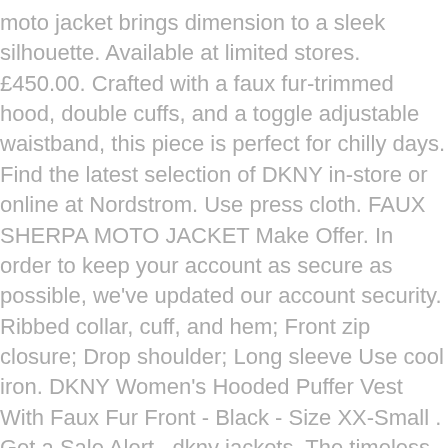moto jacket brings dimension to a sleek silhouette. Available at limited stores. £450.00. Crafted with a faux fur-trimmed hood, double cuffs, and a toggle adjustable waistband, this piece is perfect for chilly days. Find the latest selection of DKNY in-store or online at Nordstrom. Use press cloth. FAUX SHERPA MOTO JACKET Make Offer. In order to keep your account as secure as possible, we've updated our account security. Ribbed collar, cuff, and hem; Front zip closure; Drop shoulder; Long sleeve Use cool iron. DKNY Women's Hooded Puffer Vest With Faux Fur Front - Black - Size XX-Small . Get a Sale Alert . dkny jackets. The timeless style transcends seasons for year-round wear. Black. at Macy's . ($20.00 - $260.00) Find great deals on the latest styles of Dkny. Cut in an undeniably soft faux fur, this head-turning coat in a classic silhouette never fails to add that luxe edge to your look. Get 5% in rewards with Club O! $150 $250 . With a waterfall silhouette, cropped hem, and eye-catching faux leather sleeves, this versatile layer is